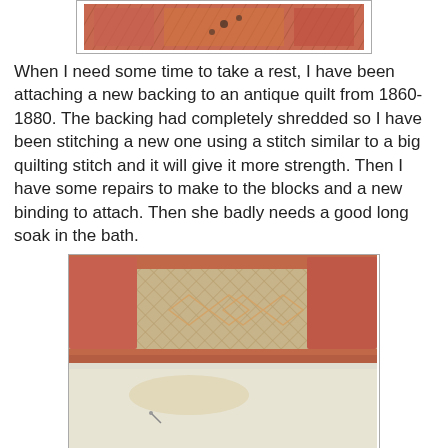[Figure (photo): Top portion of an antique quilt showing pink/salmon colored fabric with small black dot pattern]
When I need some time to take a rest, I have been attaching a new backing to an antique quilt from 1860-1880. The backing had completely shredded so I have been stitching a new one using a stitch similar to a big quilting stitch and it will give it more strength. Then I have some repairs to make to the blocks and a new binding to attach. Then she badly needs a good long soak in the bath.
[Figure (photo): Close-up photo of an antique quilt showing the patchwork blocks in pink/salmon and beige/tan colors with a white backing fabric visible below]
She will be a treasured addition to my growing collection of vintage and antique quilts and I can't wait to take some photos once she has been cleaned. I have really enjoyed working on her as it gives me a chance to study her up